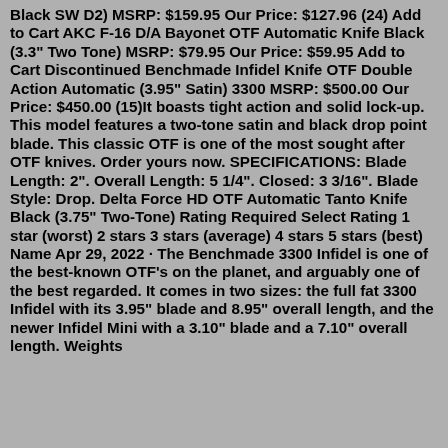Black SW D2) MSRP: $159.95 Our Price: $127.96 (24) Add to Cart AKC F-16 D/A Bayonet OTF Automatic Knife Black (3.3" Two Tone) MSRP: $79.95 Our Price: $59.95 Add to Cart Discontinued Benchmade Infidel Knife OTF Double Action Automatic (3.95" Satin) 3300 MSRP: $500.00 Our Price: $450.00 (15)It boasts tight action and solid lock-up. This model features a two-tone satin and black drop point blade. This classic OTF is one of the most sought after OTF knives. Order yours now. SPECIFICATIONS: Blade Length: 2". Overall Length: 5 1/4". Closed: 3 3/16". Blade Style: Drop. Delta Force HD OTF Automatic Tanto Knife Black (3.75" Two-Tone) Rating Required Select Rating 1 star (worst) 2 stars 3 stars (average) 4 stars 5 stars (best) Name Apr 29, 2022 · The Benchmade 3300 Infidel is one of the best-known OTF's on the planet, and arguably one of the best regarded. It comes in two sizes: the full fat 3300 Infidel with its 3.95" blade and 8.95" overall length, and the newer Infidel Mini with a 3.10" blade and a 7.10" overall length. Weights